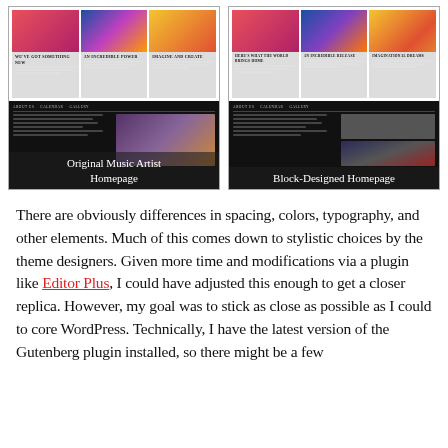[Figure (screenshot): Two side-by-side website screenshots. Left: Original Music Artist Homepage showing a card grid of colorful images with text, and a dark nav section below. Right: Block-Designed Homepage showing a similar layout with dark nav and portrait photo.]
Original Music Artist Homepage
Block-Designed Homepage
There are obviously differences in spacing, colors, typography, and other elements. Much of this comes down to stylistic choices by the theme designers. Given more time and modifications via a plugin like Editor Plus, I could have adjusted this enough to get a closer replica. However, my goal was to stick as close as possible as I could to core WordPress. Technically, I have the latest version of the Gutenberg plugin installed, so there might be a few